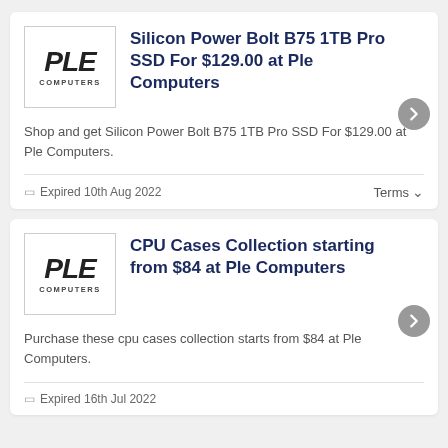[Figure (logo): PLE COMPUTERS logo in italic bold text]
Silicon Power Bolt B75 1TB Pro SSD For $129.00 at Ple Computers
Shop and get Silicon Power Bolt B75 1TB Pro SSD For $129.00 at Ple Computers.
Expired 10th Aug 2022
Terms
[Figure (logo): PLE COMPUTERS logo in italic bold text]
CPU Cases Collection starting from $84 at Ple Computers
Purchase these cpu cases collection starts from $84 at Ple Computers.
Expired 16th Jul 2022